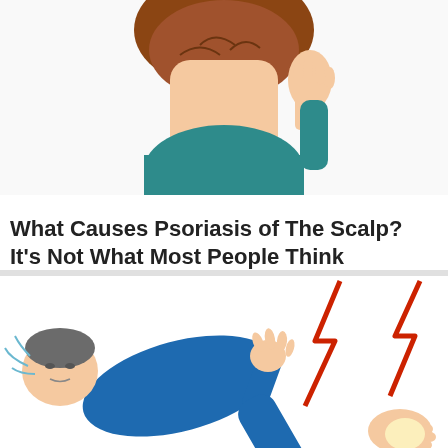[Figure (illustration): Illustration of a person scratching their scalp, showing brown hair and a teal shirt collar, viewed from behind/side angle cropped at top of page]
What Causes Psoriasis of The Scalp? It’s Not What Most People Think
Psoriasis Symptoms | Search Ads
SPONSORED
[Figure (illustration): Illustration of a person in blue pajamas lying down in pain, with red lightning bolt lines indicating pain at the foot/ankle area, and a hand reaching toward the foot]